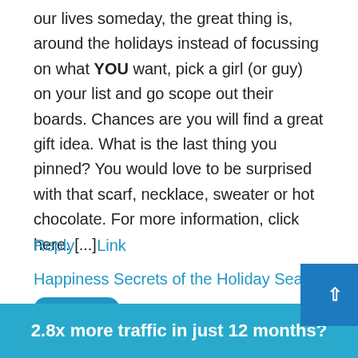our lives someday, the great thing is, around the holidays instead of focussing on what YOU want, pick a girl (or guy) on your list and go scope out their boards. Chances are you will find a great gift idea. What is the last thing you pinned? You would love to be surprised with that scarf, necklace, sweater or hot chocolate. For more information, click here. [...]
Reply   Link
Happiness Secrets of the Holiday Season
Pingback
February 8, 2014 at 3:08 pm
2.8x more traffic in just 12 months?